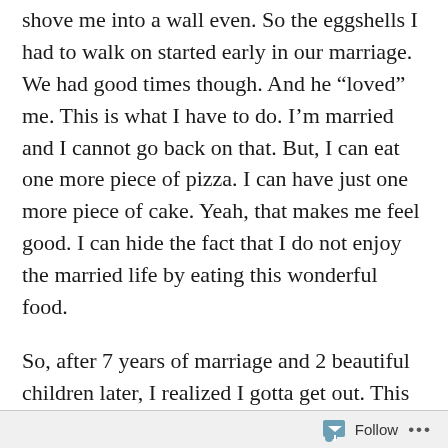shove me into a wall even. So the eggshells I had to walk on started early in our marriage. We had good times though. And he “loved” me. This is what I have to do. I’m married and I cannot go back on that. But, I can eat one more piece of pizza. I can have just one more piece of cake. Yeah, that makes me feel good. I can hide the fact that I do not enjoy the married life by eating this wonderful food.
So, after 7 years of marriage and 2 beautiful children later, I realized I gotta get out. This is not how marriage is supposed to be and I do not want my kids thinking this is how they treat a woman. By screaming her into submission. So I got the courage to leave and immediately felt better. HAPPY! Moved in with my mom and had a happy home. I was at about 298lbs when I left and in no time literally melted off about 125lbs and 5 dress sizes. Happiness
Follow ...